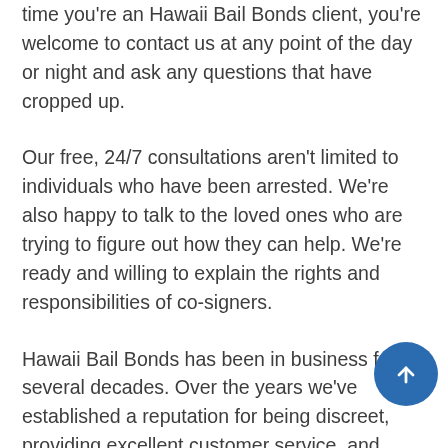time you're an Hawaii Bail Bonds client, you're welcome to contact us at any point of the day or night and ask any questions that have cropped up.
Our free, 24/7 consultations aren't limited to individuals who have been arrested. We're also happy to talk to the loved ones who are trying to figure out how they can help. We're ready and willing to explain the rights and responsibilities of co-signers.
Hawaii Bail Bonds has been in business for several decades. Over the years we've established a reputation for being discreet, providing excellent customer service, and always being available.
There are several reasons why we're